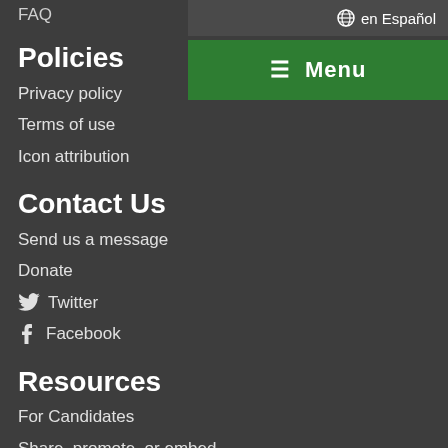en Español
≡ Menu
FAQ
Policies
Privacy policy
Terms of use
Icon attribution
Contact Us
Send us a message
Donate
Twitter
Facebook
Resources
For Candidates
Share, promote, or embed
Create Your Own Guide